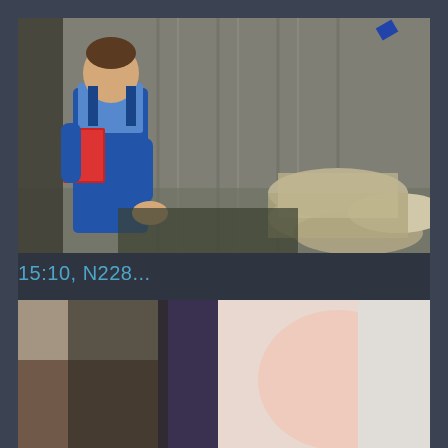[Figure (screenshot): Video thumbnail showing a man in blue overalls and blue shirt holding a red folder/binder, standing in what appears to be a warehouse or barn with corrugated metal walls and barrels visible on the right side.]
15:10, N228...
[Figure (screenshot): Partial video thumbnail showing what appears to be people, partially cut off at the bottom of the page.]